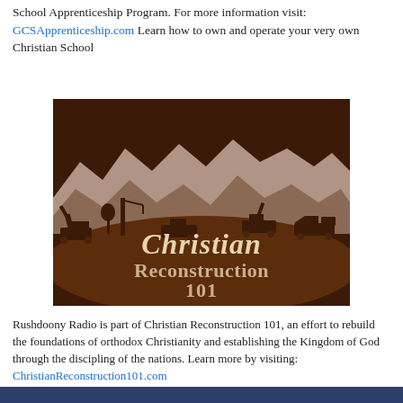School Apprenticeship Program. For more information visit: GCSApprenticeship.com Learn how to own and operate your very own Christian School
[Figure (illustration): Christian Reconstruction 101 logo image with silhouette of construction vehicles and mountains, dark brown background with white chalk-style text]
Rushdoony Radio is part of Christian Reconstruction 101, an effort to rebuild the foundations of orthodox Christianity and establishing the Kingdom of God through the discipling of the nations. Learn more by visiting: ChristianReconstruction101.com